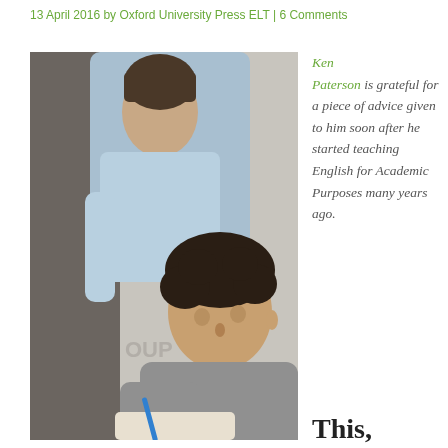13 April 2016 by Oxford University Press ELT | 6 Comments
[Figure (photo): Two male students, one standing leaning over, one seated in foreground with curly dark hair writing with a blue pen, classroom setting. OUP watermark visible.]
Ken Paterson is grateful for a piece of advice given to him soon after he started teaching English for Academic Purposes many years ago.
This,